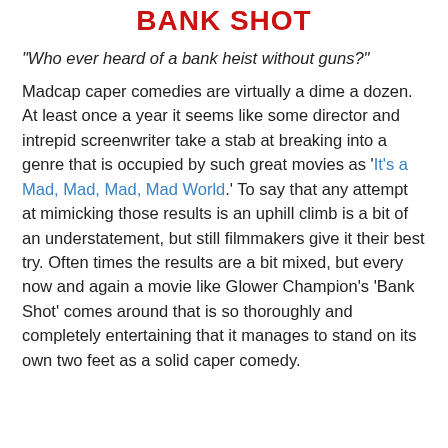BANK SHOT
"Who ever heard of a bank heist without guns?"
Madcap caper comedies are virtually a dime a dozen. At least once a year it seems like some director and intrepid screenwriter take a stab at breaking into a genre that is occupied by such great movies as 'It's a Mad, Mad, Mad, Mad World.' To say that any attempt at mimicking those results is an uphill climb is a bit of an understatement, but still filmmakers give it their best try. Often times the results are a bit mixed, but every now and again a movie like Glower Champion's 'Bank Shot' comes around that is so thoroughly and completely entertaining that it manages to stand on its own two feet as a solid caper comedy.